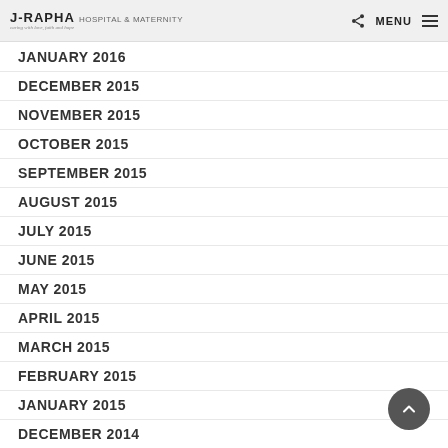J-RAPHA HOSPITAL & MATERNITY — MENU
JANUARY 2016
DECEMBER 2015
NOVEMBER 2015
OCTOBER 2015
SEPTEMBER 2015
AUGUST 2015
JULY 2015
JUNE 2015
MAY 2015
APRIL 2015
MARCH 2015
FEBRUARY 2015
JANUARY 2015
DECEMBER 2014
NOVEMBER 2014
OCTOBER 2014